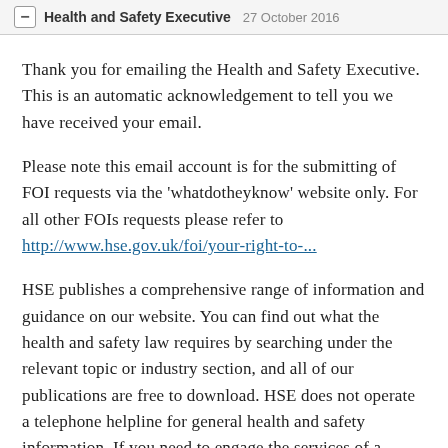Health and Safety Executive 27 October 2016
Thank you for emailing the Health and Safety Executive. This is an automatic acknowledgement to tell you we have received your email.
Please note this email account is for the submitting of FOI requests via the 'whatdotheyknow' website only. For all other FOIs requests please refer to http://www.hse.gov.uk/foi/your-right-to-...
HSE publishes a comprehensive range of information and guidance on our website. You can find out what the health and safety law requires by searching under the relevant topic or industry section, and all of our publications are free to download. HSE does not operate a telephone helpline for general health and safety information. If you need to engage the services of a health and safety consultant, you may wish to visit